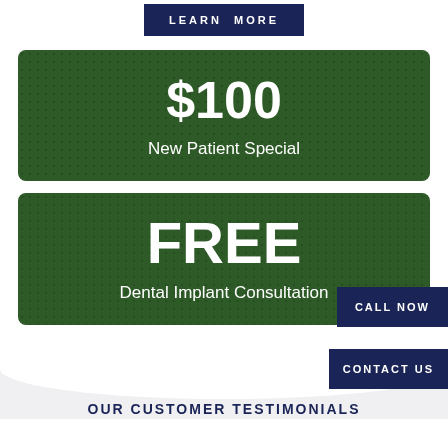LEARN MORE
$100
New Patient Special
FREE
Dental Implant Consultation
CALL NOW
CONTACT US
OUR CUSTOMER TESTIMONIALS